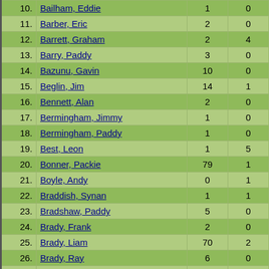| # | Name | Caps | Goals |
| --- | --- | --- | --- |
| 10. | Bailham, Eddie | 1 | 0 |
| 11. | Barber, Eric | 2 | 0 |
| 12. | Barrett, Graham | 2 | 4 |
| 13. | Barry, Paddy | 3 | 0 |
| 14. | Bazunu, Gavin | 10 | 0 |
| 15. | Beglin, Jim | 14 | 1 |
| 16. | Bennett, Alan | 2 | 0 |
| 17. | Bermingham, Jimmy | 1 | 0 |
| 18. | Bermingham, Paddy | 1 | 0 |
| 19. | Best, Leon | 1 | 5 |
| 20. | Bonner, Packie | 79 | 1 |
| 21. | Boyle, Andy | 0 | 1 |
| 22. | Braddish, Synan | 1 | 1 |
| 23. | Bradshaw, Paddy | 5 | 0 |
| 24. | Brady, Frank | 2 | 0 |
| 25. | Brady, Liam | 70 | 2 |
| 26. | Brady, Ray | 6 | 0 |
| 27. | Brady, Robert | 44 | 13 |
| 28. | Branagan, Keith | 1 | 0 |
| 29. | Breen, Gary | 58 | 5 |